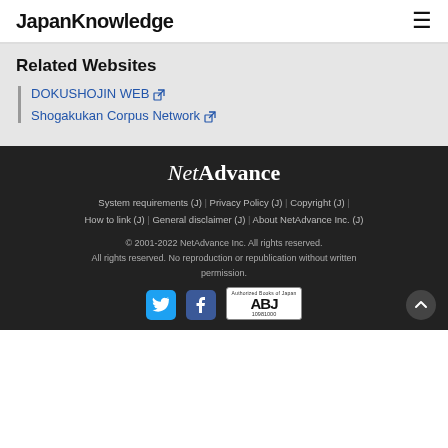JapanKnowledge
Related Websites
DOKUSHOJIN WEB ↗
Shogakukan Corpus Network ↗
[Figure (logo): NetAdvance logo in white italic/bold text on dark background]
System requirements (J) | Privacy Policy (J) | Copyright (J) | How to link (J) | General disclaimer (J) | About NetAdvance Inc. (J)
© 2001-2022 NetAdvance Inc. All rights reserved. All rights reserved. No reproduction or republication without written permission.
[Figure (logo): Twitter, Facebook social icons and ABJ (Authorized Books of Japan) badge with number 10981000, and scroll-to-top button]